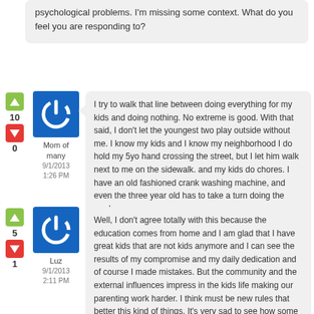psychological problems. I'm missing some context. What do you feel you are responding to?
I try to walk that line between doing everything for my kids and doing nothing. No extreme is good. With that said, I don't let the youngest two play outside without me. I know my kids and I know my neighborhood I do hold my 5yo hand crossing the street, but I let him walk next to me on the sidewalk. and my kids do chores. I have an old fashioned crank washing machine, and even the three year old has to take a turn doing the wash.
Mom of many
9/1/2013
1:26 PM
Well, I don't agree totally with this because the education comes from home and I am glad that I have great kids that are not kids anymore and I can see the results of my compromise and my daily dedication and of course I made mistakes. But the community and the external influences impress in the kids life making our parenting work harder. I think must be new rules that better this kind of things. It's very sad to see how some kids and teenagers think this is cool and we also need to stand for those kids that their parents are not parents enough. If I think only about
Luz
9/1/2013
2:11 PM